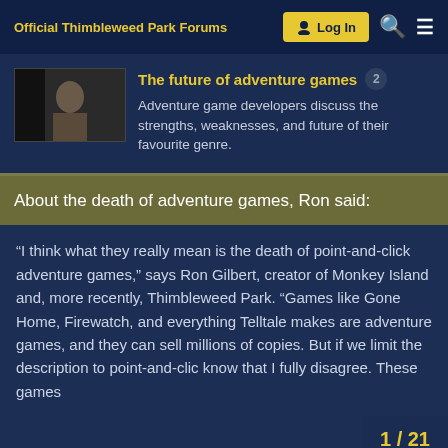Official Thimbleweed Park Forums
The future of adventure games 2
Adventure game developers discuss the strengths, weaknesses, and future of their favourite genre.
About the death of adventure games, Ron said:
“I think what they really mean is the death of point-and-click adventure games,” says Ron Gilbert, creator of Monkey Island and, more recently, Thimbleweed Park. “Games like Gone Home, Firewatch, and everything Telltale makes are adventure games, and they can sell millions of copies. But if we limit the description to point-and-clic… know that I fully disagree. These games…
1 / 21